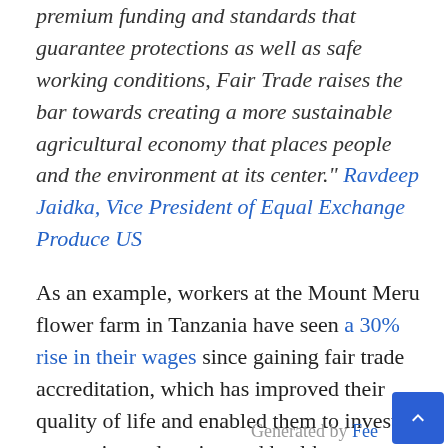premium funding and standards that guarantee protections as well as safe working conditions, Fair Trade raises the bar towards creating a more sustainable agricultural economy that places people and the environment at its center." Ravdeep Jaidka, Vice President of Equal Exchange Produce US
As an example, workers at the Mount Meru flower farm in Tanzania have seen a 30% rise in their wages since gaining fair trade accreditation, which has improved their quality of life and enabled them to invest money into education and healthcare.
Safe and Ethical Working Conditions
Some poverty-stricken farmers receive such
Generated by Fee